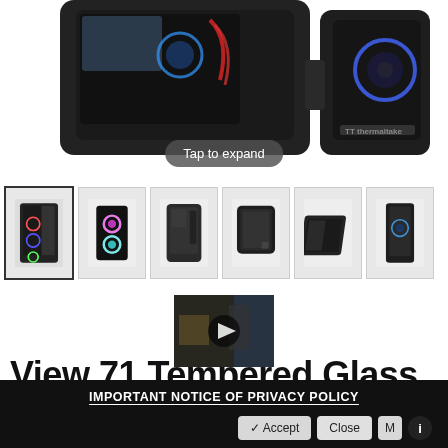[Figure (photo): Top portion of a Thermaltake View 71 Tempered Glass PC case product image with 'Tap to expand' pill overlay]
[Figure (photo): Thumbnail gallery strip showing 6 different angles of the PC case, with first thumbnail selected]
[Figure (screenshot): Video thumbnail with play button overlay showing a dark scene]
View 71 Tempered Glass
IMPORTANT NOTICE OF PRIVACY POLICY